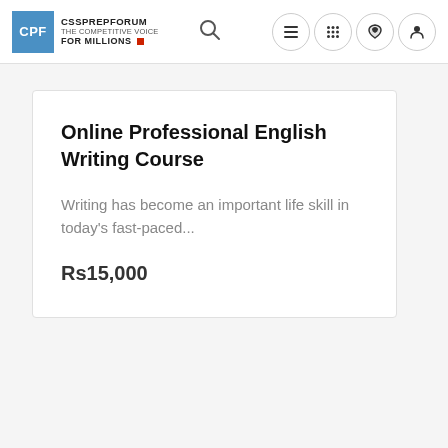CSSPREPFORUM THE COMPETITIVE VOICE FOR MILLIONS
Online Professional English Writing Course
Writing has become an important life skill in today's fast-paced...
Rs15,000